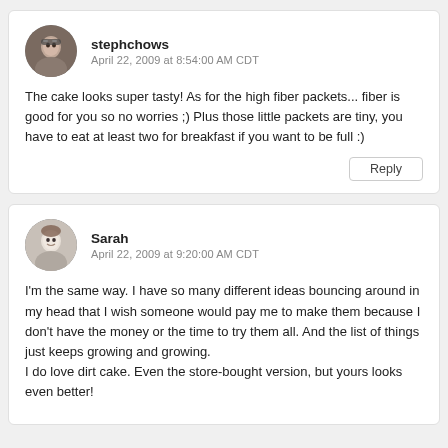stephchows
April 22, 2009 at 8:54:00 AM CDT
The cake looks super tasty! As for the high fiber packets... fiber is good for you so no worries ;) Plus those little packets are tiny, you have to eat at least two for breakfast if you want to be full :)
Reply
Sarah
April 22, 2009 at 9:20:00 AM CDT
I'm the same way. I have so many different ideas bouncing around in my head that I wish someone would pay me to make them because I don't have the money or the time to try them all. And the list of things just keeps growing and growing.
I do love dirt cake. Even the store-bought version, but yours looks even better!